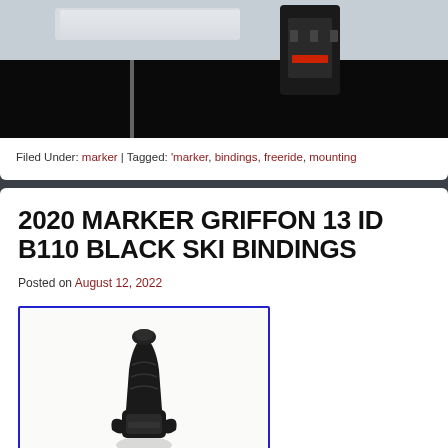[Figure (photo): Ski bindings on a wooden surface, showing white ski and black binding hardware with red accent]
Filed Under: marker | Tagged: 'marker, bindings, freeride, mounting
2020 MARKER GRIFFON 13 ID B110 BLACK SKI BINDINGS
Posted on August 12, 2022
[Figure (photo): 2020 Marker Griffon 13 ID B110 Black Ski Binding product photo on white background with blue border]